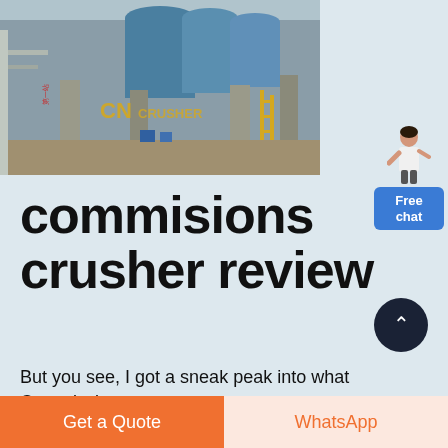[Figure (photo): Aerial view of an industrial crusher plant facility with blue pipes, concrete structures, yellow railings and stairs. CN CRUSHER watermark visible on the image.]
commisions crusher review
But you see, I got a sneak peak into what Commission Crusher is all about, and got to give...